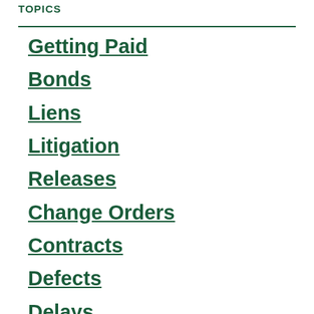TOPICS
Getting Paid
Bonds
Liens
Litigation
Releases
Change Orders
Contracts
Defects
Delays